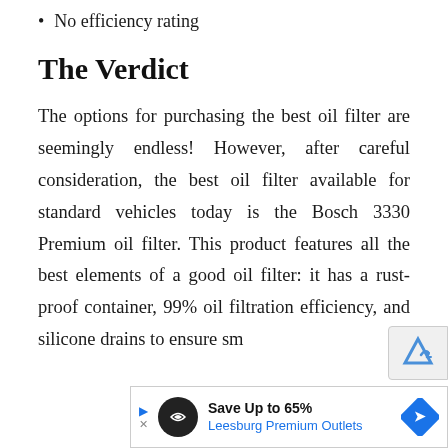No efficiency rating
The Verdict
The options for purchasing the best oil filter are seemingly endless! However, after careful consideration, the best oil filter available for standard vehicles today is the Bosch 3330 Premium oil filter. This product features all the best elements of a good oil filter: it has a rust-proof container, 99% oil filtration efficiency, and silicone drains to ensure sm…